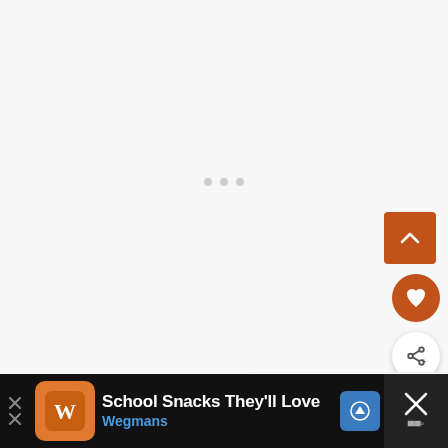[Figure (screenshot): A near-blank light gray webpage area with three small gray dots centered, indicating a loading or carousel state. On the right side are UI buttons: an orange/rust colored square scroll-up button with a chevron up arrow, an orange circular heart/favorite button, and a white circular share button with a share icon. A 'WHAT'S NEXT' panel appears in the lower right showing a thumbnail and text 'The Christmas Present -...']
[Figure (photo): Bottom portion of page showing the back of a child's head with reddish-brown hair, photographed against a gray gradient background.]
[Figure (screenshot): Advertisement banner at the bottom: black background with an orange Wegmans logo icon, text 'School Snacks They'll Love' in white bold font, 'Wegmans' in blue bold font, a blue navigation/directions icon button, and an X close button with a weather/temperature widget on the far right.]